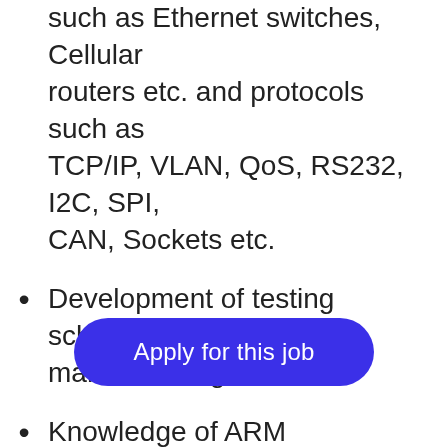Experience in networking solutions such as Ethernet switches, Cellular routers etc. and protocols such as TCP/IP, VLAN, QoS, RS232, I2C, SPI, CAN, Sockets etc.
Development of testing schemes for manufacturing
Knowledge of ARM
Basic knowledge in Digital Electronics and Hardware Design
Familiarity with GitHub or equivalent
Actively worked with industry standards in project requirements
[Figure (other): Blue rounded rectangle button with text 'Apply for this job' overlaid on the page content]